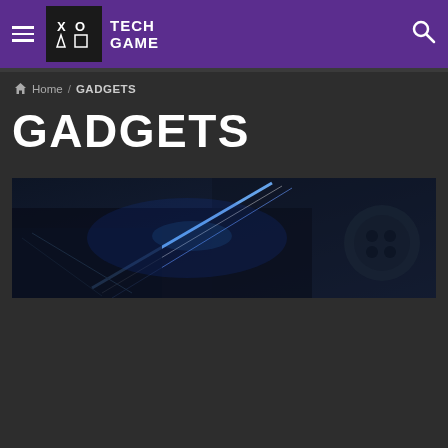TECH GAME
Home / GADGETS
GADGETS
[Figure (photo): Dark-toned banner image with blue neon light streaks and gaming controller elements on a dark background]